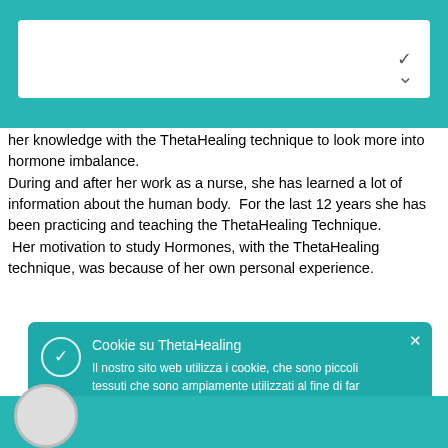[Figure (screenshot): Top teal navigation bar with white search/input dropdown box]
her knowledge with the ThetaHealing technique to look more into hormone imbalance.
During and after her work as a nurse, she has learned a lot of information about the human body.  For the last 12 years she has been practicing and teaching the ThetaHealing Technique.
 Her motivation to study Hormones, with the ThetaHealing technique, was because of her own personal experience.
[Figure (screenshot): Cookie notification popup: 'Cookie su ThetaHealing' - Il nostro sito web utilizza i cookie, che sono piccoli tessuti che sono ampiamente utilizzati al fine di far funzionare i siti web in modo più efficace. Utilizzando il nostro sito Web acconsenti all'utilizzo dei cookie. Scopri di più sui cookie e su come cambiarli.]
[Figure (screenshot): Privacy e Termini di servizio popup: Utilizzando questo sito, accetti il politica sulla riservatezza e Termini di servizio.]
[Figure (screenshot): Bottom teal bar with partial circle element visible]